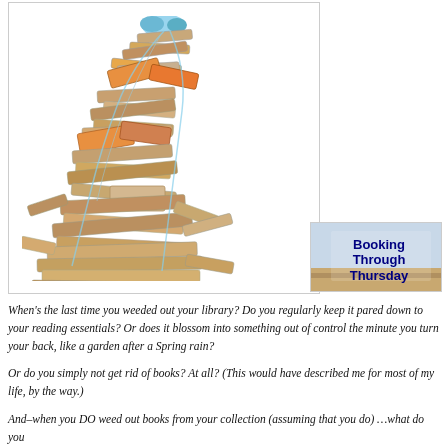[Figure (illustration): Illustration of a large chaotic pile/tower of books stacked haphazardly, with strings or ribbons weaving through them, and blue fabric visible at the very top — resembling a person buried under books.]
[Figure (logo): Booking Through Thursday logo/badge with text 'Booking Through Thursday' on a blue-grey and tan background.]
When's the last time you weeded out your library? Do you regularly keep it pared down to your reading essentials? Or does it blossom into something out of control the minute you turn your back, like a garden after a Spring rain?
Or do you simply not get rid of books? At all? (This would have described me for most of my life, by the way.)
And–when you DO weed out books from your collection (assuming that you do) …what do you